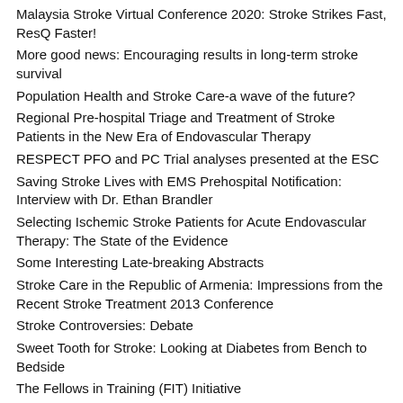Malaysia Stroke Virtual Conference 2020: Stroke Strikes Fast, ResQ Faster!
More good news: Encouraging results in long-term stroke survival
Population Health and Stroke Care-a wave of the future?
Regional Pre-hospital Triage and Treatment of Stroke Patients in the New Era of Endovascular Therapy
RESPECT PFO and PC Trial analyses presented at the ESC
Saving Stroke Lives with EMS Prehospital Notification: Interview with Dr. Ethan Brandler
Selecting Ischemic Stroke Patients for Acute Endovascular Therapy: The State of the Evidence
Some Interesting Late-breaking Abstracts
Stroke Care in the Republic of Armenia: Impressions from the Recent Stroke Treatment 2013 Conference
Stroke Controversies: Debate
Sweet Tooth for Stroke: Looking at Diabetes from Bench to Bedside
The Fellows in Training (FIT) Initiative
The Future of Remote Ischemic Conditioning: An Interview with Dr. David Hess
The Nuts and Bolts of Organizing a Telestroke Network: A Challenging but Achievable Goal
Tranexamic Acid for Acute Intracerebral Hemorrhage
Untangling Post-stroke Dementia
What Causes Lacunar Stroke, and How Should You Treat It?